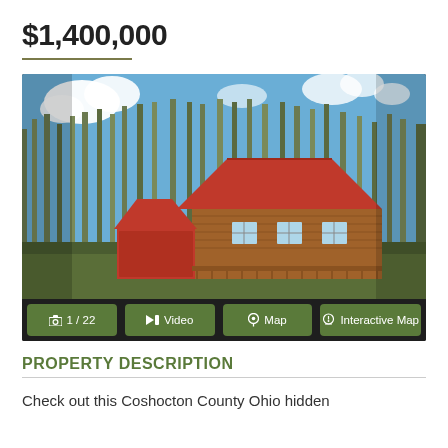$1,400,000
[Figure (photo): Aerial/ground-level photo of a log cabin house with red metal roof and red garage door, surrounded by bare deciduous trees under a partly cloudy blue sky. Buttons below image: 1/22, Video, Map, Interactive Map.]
PROPERTY DESCRIPTION
Check out this Coshocton County Ohio hidden